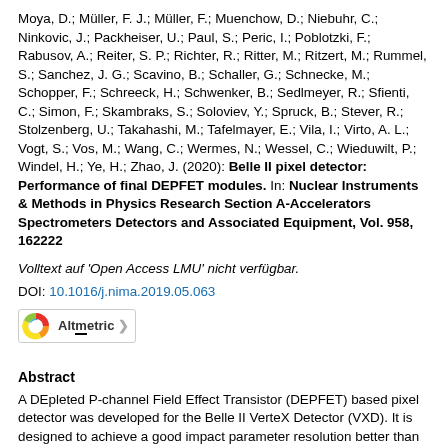Moya, D.; Müller, F. J.; Müller, F.; Muenchow, D.; Niebuhr, C.; Ninkovic, J.; Packheiser, U.; Paul, S.; Peric, I.; Poblotzki, F.; Rabusov, A.; Reiter, S. P.; Richter, R.; Ritter, M.; Ritzert, M.; Rummel, S.; Sanchez, J. G.; Scavino, B.; Schaller, G.; Schnecke, M.; Schopper, F.; Schreeck, H.; Schwenker, B.; Sedlmeyer, R.; Sfienti, C.; Simon, F.; Skambraks, S.; Soloviev, Y.; Spruck, B.; Stever, R.; Stolzenberg, U.; Takahashi, M.; Tafelmayer, E.; Vila, I.; Virto, A. L.; Vogt, S.; Vos, M.; Wang, C.; Wermes, N.; Wessel, C.; Wieduwilt, P.; Windel, H.; Ye, H.; Zhao, J. (2020): Belle II pixel detector: Performance of final DEPFET modules. In: Nuclear Instruments & Methods in Physics Research Section A-Accelerators Spectrometers Detectors and Associated Equipment, Vol. 958, 162222
Volltext auf 'Open Access LMU' nicht verfügbar.
DOI: 10.1016/j.nima.2019.05.063
[Figure (logo): Altmetric badge logo with colorful donut chart and text 'Altmetric' and an arrow icon]
Abstract
A DEpleted P-channel Field Effect Transistor (DEPFET) based pixel detector was developed for the Belle II VerteX Detector (VXD). It is designed to achieve a good impact parameter resolution better than 15 mu m at the very high luminosity conditions of this experiment. In the first half of 2018 four final production modules have been deployed in the commissioning run of the